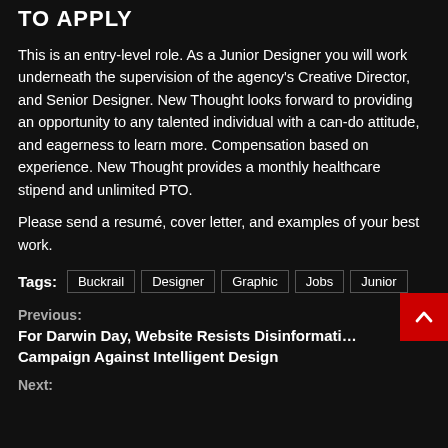TO APPLY
This is an entry-level role. As a Junior Designer you will work underneath the supervision of the agency's Creative Director, and Senior Designer. New Thought looks forward to providing an opportunity to any talented individual with a can-do attitude, and eagerness to learn more. Compensation based on experience. New Thought provides a monthly healthcare stipend and unlimited PTO.
Please send a resumé, cover letter, and examples of your best work.
Tags: Buckrail  Designer  Graphic  Jobs  Junior
Previous: For Darwin Day, Website Resists Disinformation Campaign Against Intelligent Design
Next: